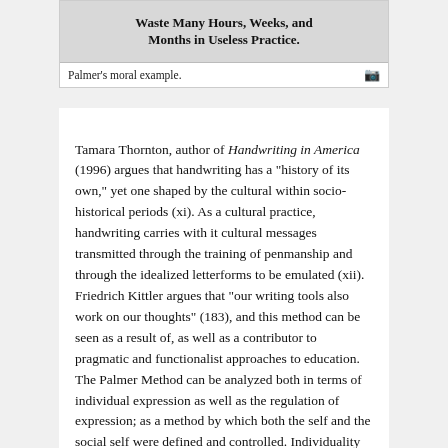[Figure (illustration): Partial view of a boxed printed advertisement or moral example text reading 'Waste Many Hours, Weeks, and Months in Useless Practice.' in bold serif font, associated with Palmer's penmanship method.]
Palmer's moral example.
Tamara Thornton, author of Handwriting in America (1996) argues that handwriting has a "history of its own," yet one shaped by the cultural within socio-historical periods (xi). As a cultural practice, handwriting carries with it cultural messages transmitted through the training of penmanship and through the idealized letterforms to be emulated (xii). Friedrich Kittler argues that "our writing tools also work on our thoughts" (183), and this method can be seen as a result of, as well as a contributor to pragmatic and functionalist approaches to education. The Palmer Method can be analyzed both in terms of individual expression as well as the regulation of expression; as a method by which both the self and the social self were defined and controlled. Individuality was to be expressed within standardized forms, a paradox which is